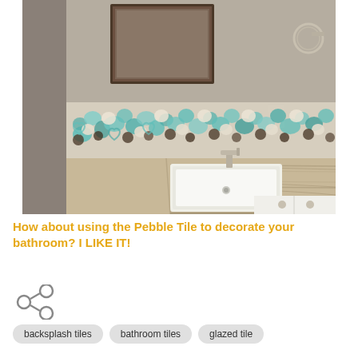[Figure (photo): Bathroom vanity with a wood-grain marble countertop, undermount white rectangular sink, silver faucet, and a decorative pebble tile backsplash in teal, white, and dark colors. A framed mirror is visible above the backsplash, and a towel ring holder is on the right wall. White cabinet doors are visible below.]
How about using the Pebble Tile to decorate your bathroom? I LIKE IT!
[Figure (infographic): Share icon (less-than symbol with three circles at the points)]
backsplash tiles   bathroom tiles   glazed tile